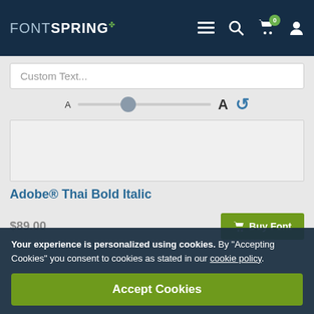FONTSPRING
Custom Text...
[Figure (other): Font size slider control with small A, slider thumb, large A, and reload/refresh icon]
[Figure (other): Font preview area - empty grey box showing font preview]
Adobe® Thai Bold Italic
$89.00
Buy Font
Your experience is personalized using cookies. By “Accepting Cookies” you consent to cookies as stated in our cookie policy.
Accept Cookies